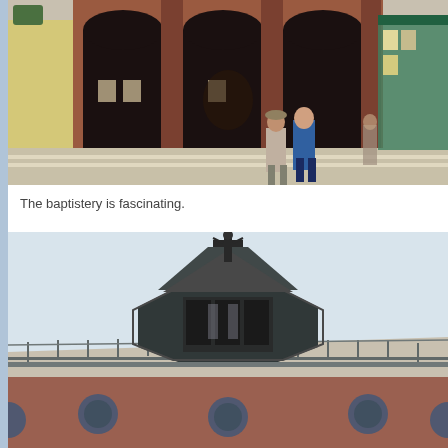[Figure (photo): Outdoor street scene showing a brick building with arched porticoes, two people walking in the foreground, and a street vendor/newsstand on the right side. Daytime, sunny.]
The baptistery is fascinating.
[Figure (photo): Close-up view of the roof and cupola of a baptistery building against a pale sky. The octagonal lantern/cupola has dark metal or wood construction with a cross on top, and the lower roof shows circular oculus windows and metal railing.]